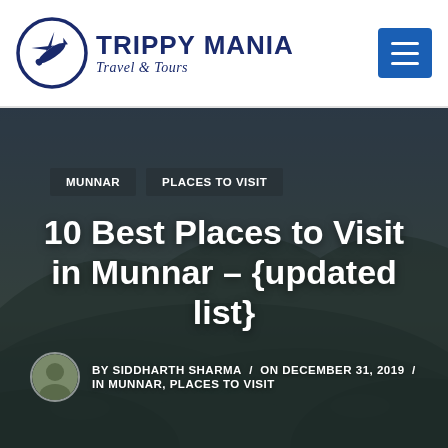TRIPPY MANIA Travel & Tours
[Figure (photo): Dark scenic background showing tea garden hills in Munnar with dark overlay]
MUNNAR   PLACES TO VISIT
10 Best Places to Visit in Munnar – {updated list}
BY SIDDHARTH SHARMA / ON DECEMBER 31, 2019 / IN MUNNAR, PLACES TO VISIT